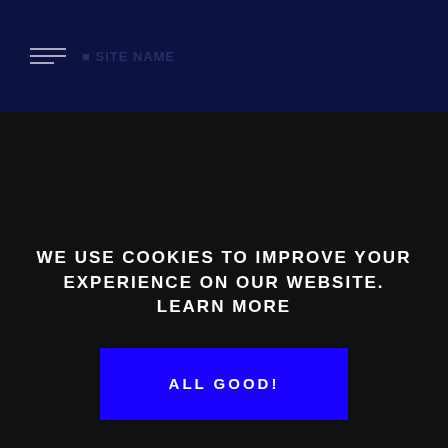≡ [Logo / Site Name]
WE USE COOKIES TO IMPROVE YOUR EXPERIENCE ON OUR WEBSITE. LEARN MORE
ALL GOOD!